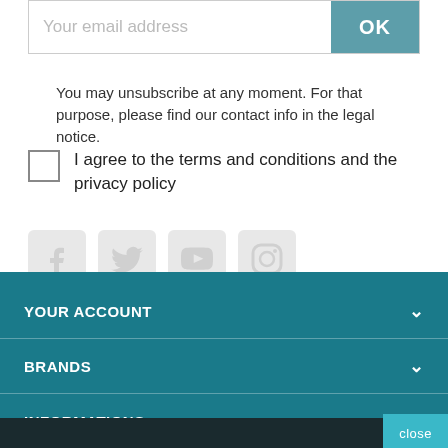Your email address
You may unsubscribe at any moment. For that purpose, please find our contact info in the legal notice.
I agree to the terms and conditions and the privacy policy
[Figure (other): Social media icons: Facebook, Twitter, YouTube, Instagram]
YOUR ACCOUNT
BRANDS
INFORMATIONS
close